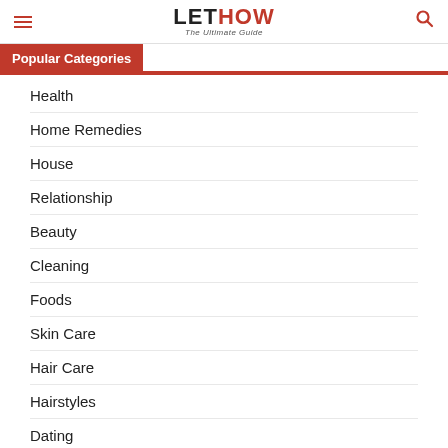LETHOW The Ultimate Guide
Popular Categories
Health
Home Remedies
House
Relationship
Beauty
Cleaning
Foods
Skin Care
Hair Care
Hairstyles
Dating
Exercises